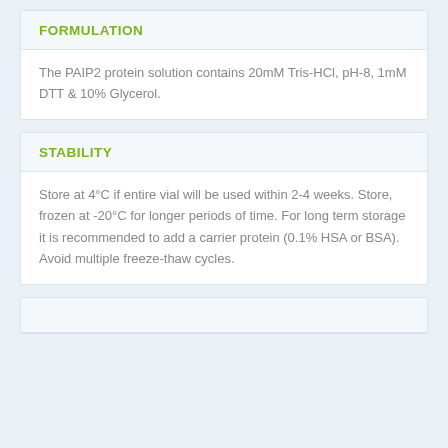FORMULATION
The PAIP2 protein solution contains 20mM Tris-HCl, pH-8, 1mM DTT & 10% Glycerol.
STABILITY
Store at 4°C if entire vial will be used within 2-4 weeks. Store, frozen at -20°C for longer periods of time. For long term storage it is recommended to add a carrier protein (0.1% HSA or BSA). Avoid multiple freeze-thaw cycles.